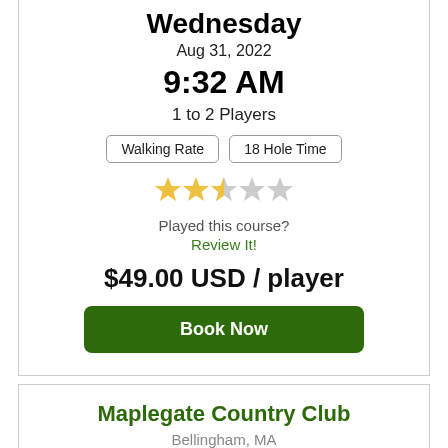Wednesday
Aug 31, 2022
9:32 AM
1 to 2 Players
Walking Rate | 18 Hole Time
[Figure (other): Star rating: 2.5 out of 5 stars]
Played this course?
Review It!
$49.00 USD / player
Book Now
Maplegate Country Club
Bellingham, MA
Wednesday
Aug 31, 2022